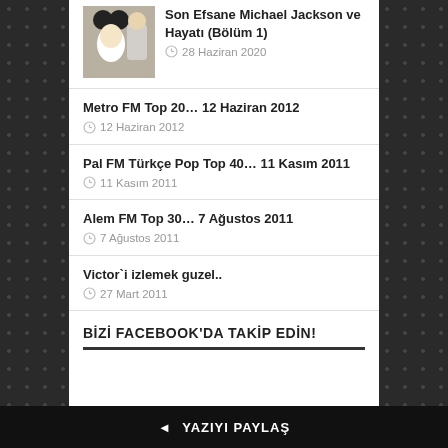[Figure (photo): Photo of Michael Jackson with Mickey Mouse character]
Son Efsane Michael Jackson ve Hayatı (Bölüm 1)
28 Haziran 2020
Metro FM Top 20… 12 Haziran 2012
12 Haziran 2012
Pal FM Türkçe Pop Top 40… 11 Kasım 2011
11 Kasım 2011
Alem FM Top 30… 7 Ağustos 2011
7 Ağustos 2011
Victor`i izlemek guzel..
27 Mart 2011
BİZİ FACEBOOK'DA TAKİP EDİN!
YAZIYI PAYLAŞ